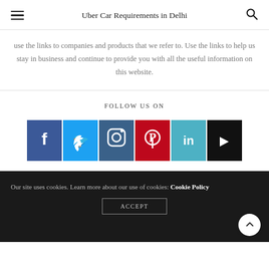Uber Car Requirements in Delhi
use the links to companies and products that we refer to. Use the links to help us stay in business and continue to provide you with all the useful information on this website.
FOLLOW US ON
[Figure (infographic): Row of six social media icon buttons: Facebook (dark blue), Twitter (light blue), Instagram (teal/dark blue), Pinterest (red), LinkedIn (teal), YouTube (black)]
Our site uses cookies. Learn more about our use of cookies: Cookie Policy
ACCEPT